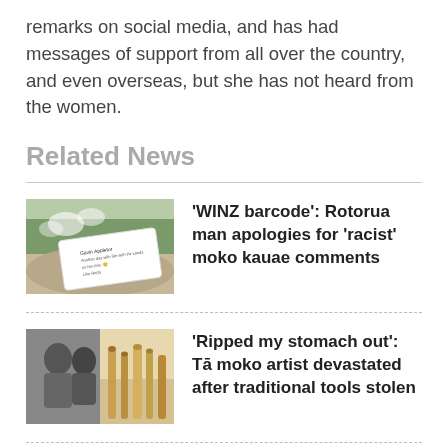remarks on social media, and has had messages of support from all over the country, and even overseas, but she has not heard from the women.
Related News
[Figure (photo): Outdoor scenic photo with a social media post overlaid showing text about 'WINZ barcode' moko kauae comments]
'WINZ barcode': Rotorua man apologies for 'racist' moko kauae comments
[Figure (photo): Two-panel black and white and color photo of a Tā moko artist with traditional tools]
'Ripped my stomach out': Tā moko artist devastated after traditional tools stolen
Scott said speaking to them would help heal the